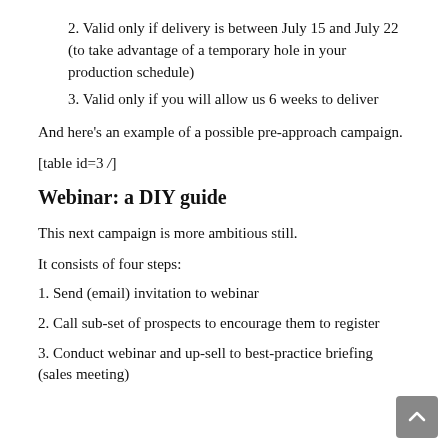2. Valid only if delivery is between July 15 and July 22 (to take advantage of a temporary hole in your production schedule)
3. Valid only if you will allow us 6 weeks to deliver
And here's an example of a possible pre-approach campaign.
[table id=3 /]
Webinar: a DIY guide
This next campaign is more ambitious still.
It consists of four steps:
1. Send (email) invitation to webinar
2. Call sub-set of prospects to encourage them to register
3. Conduct webinar and up-sell to best-practice briefing (sales meeting)